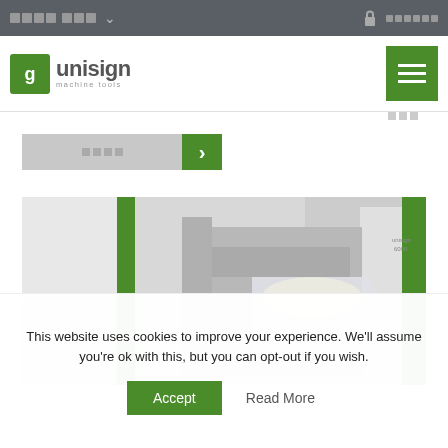Unisign machine tools - website header with logo and navigation
[Figure (screenshot): Unisign machine tools website screenshot showing logo, navigation bar, search field, machine photo, and cookie consent banner]
This website uses cookies to improve your experience. We'll assume you're ok with this, but you can opt-out if you wish.
Accept
Read More